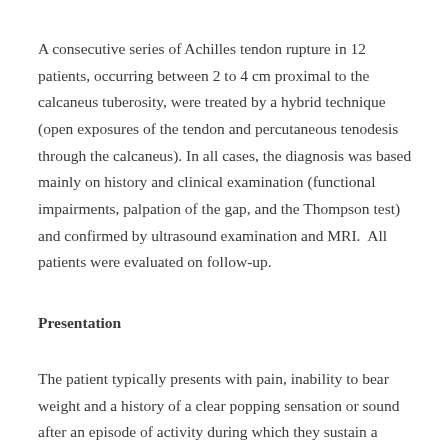A consecutive series of Achilles tendon rupture in 12 patients, occurring between 2 to 4 cm proximal to the calcaneus tuberosity, were treated by a hybrid technique (open exposures of the tendon and percutaneous tenodesis through the calcaneus). In all cases, the diagnosis was based mainly on history and clinical examination (functional impairments, palpation of the gap, and the Thompson test) and confirmed by ultrasound examination and MRI.  All patients were evaluated on follow-up.
Presentation
The patient typically presents with pain, inability to bear weight and a history of a clear popping sensation or sound after an episode of activity during which they sustain a forced